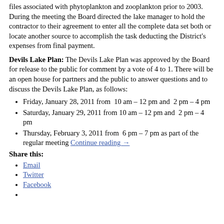files associated with phytoplankton and zooplankton prior to 2003. During the meeting the Board directed the lake manager to hold the contractor to their agreement to enter all the complete data set both or locate another source to accomplish the task deducting the District's expenses from final payment.
Devils Lake Plan: The Devils Lake Plan was approved by the Board for release to the public for comment by a vote of 4 to 1. There will be an open house for partners and the public to answer questions and to discuss the Devils Lake Plan, as follows:
Friday, January 28, 2011 from  10 am – 12 pm and  2 pm – 4 pm
Saturday, January 29, 2011 from 10 am – 12 pm and  2 pm – 4 pm
Thursday, February 3, 2011 from  6 pm – 7 pm as part of the regular meeting Continue reading →
Share this:
Email
Twitter
Facebook